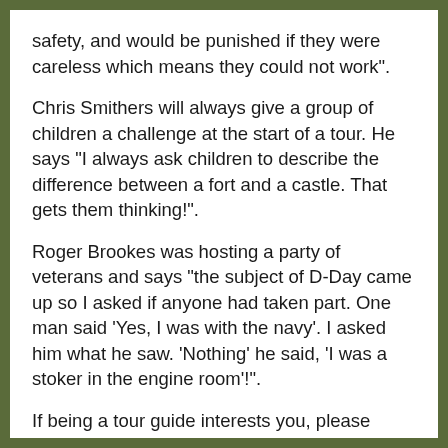safety, and would be punished if they were careless which means they could not work”.
Chris Smithers will always give a group of children a challenge at the start of a tour. He says “I always ask children to describe the difference between a fort and a castle. That gets them thinking!”.
Roger Brookes was hosting a party of veterans and says “the subject of D-Day came up so I asked if anyone had taken part. One man said ‘Yes, I was with the navy’. I asked him what he saw. ‘Nothing’ he said, ‘I was a stoker in the engine room’!”.
If being a tour guide interests you, please contact Nicola Barker, General Manager at